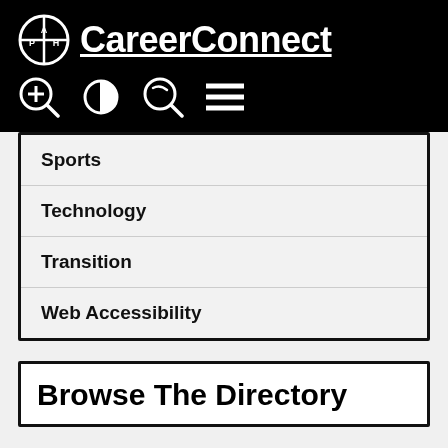APH CareerConnect
Sports
Technology
Transition
Web Accessibility
Browse The Directory